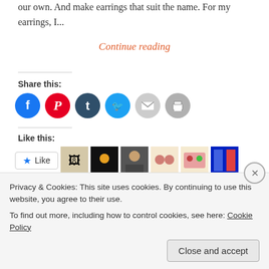our own. And make earrings that suit the name. For my earrings, I...
Continue reading
Share this:
[Figure (infographic): Six circular social media share buttons: Facebook (blue), Pinterest (red), Tumblr (dark teal), Twitter (light blue), Email (grey), Print (grey)]
Like this:
[Figure (infographic): Like button with star icon, followed by 9 blogger avatar thumbnails]
9 bloggers like this.
Privacy & Cookies: This site uses cookies. By continuing to use this website, you agree to their use.
To find out more, including how to control cookies, see here: Cookie Policy
Close and accept